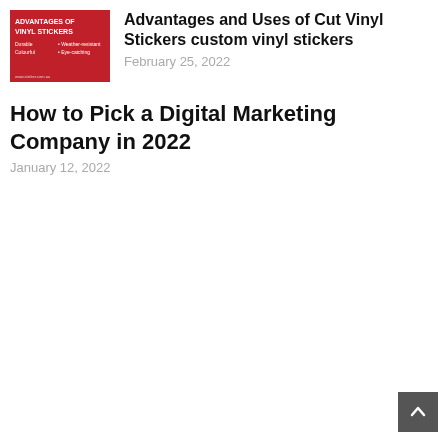[Figure (illustration): Red background thumbnail image showing 'Advantages of Vinyl Stickers' text with bullet points: Durable, Colourful, Weather-resistant, Eye-catching]
Advantages and Uses of Cut Vinyl Stickers custom vinyl stickers
February 25, 2022
How to Pick a Digital Marketing Company in 2022
January 12, 2022